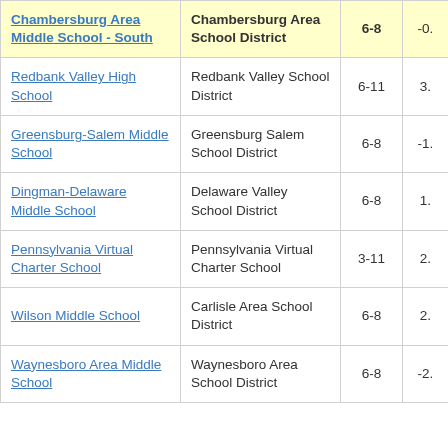| School | District | Grades | Value |
| --- | --- | --- | --- |
| Chambersburg Area Middle School - South | Chambersburg Area School District | 6-8 | -0. |
| Redbank Valley High School | Redbank Valley School District | 6-11 | 3. |
| Greensburg-Salem Middle School | Greensburg Salem School District | 6-8 | -1. |
| Dingman-Delaware Middle School | Delaware Valley School District | 6-8 | 1. |
| Pennsylvania Virtual Charter School | Pennsylvania Virtual Charter School | 3-11 | 2. |
| Wilson Middle School | Carlisle Area School District | 6-8 | 2. |
| Waynesboro Area Middle School | Waynesboro Area School District | 6-8 | -2. |